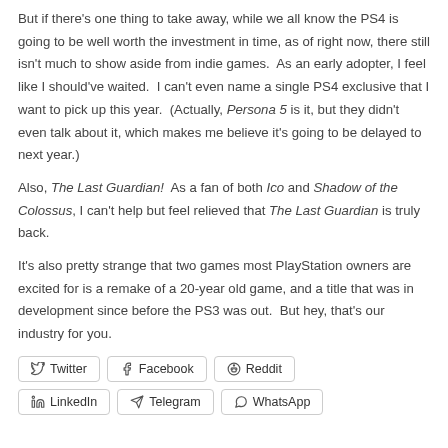But if there's one thing to take away, while we all know the PS4 is going to be well worth the investment in time, as of right now, there still isn't much to show aside from indie games.  As an early adopter, I feel like I should've waited.  I can't even name a single PS4 exclusive that I want to pick up this year.  (Actually, Persona 5 is it, but they didn't even talk about it, which makes me believe it's going to be delayed to next year.)
Also, The Last Guardian!  As a fan of both Ico and Shadow of the Colossus, I can't help but feel relieved that The Last Guardian is truly back.
It's also pretty strange that two games most PlayStation owners are excited for is a remake of a 20-year old game, and a title that was in development since before the PS3 was out.  But hey, that's our industry for you.
Twitter
Facebook
Reddit
LinkedIn
Telegram
WhatsApp